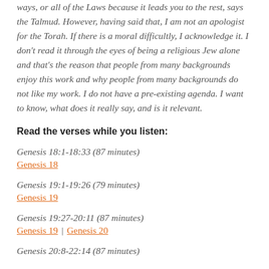ways, or all of the Laws because it leads you to the rest, says the Talmud. However, having said that, I am not an apologist for the Torah. If there is a moral difficultly, I acknowledge it. I don't read it through the eyes of being a religious Jew alone and that's the reason that people from many backgrounds enjoy this work and why people from many backgrounds do not like my work. I do not have a pre-existing agenda. I want to know, what does it really say, and is it relevant.
Read the verses while you listen:
Genesis 18:1-18:33 (87 minutes)
Genesis 18
Genesis 19:1-19:26 (79 minutes)
Genesis 19
Genesis 19:27-20:11 (87 minutes)
Genesis 19 | Genesis 20
Genesis 20:8-22:14 (87 minutes)